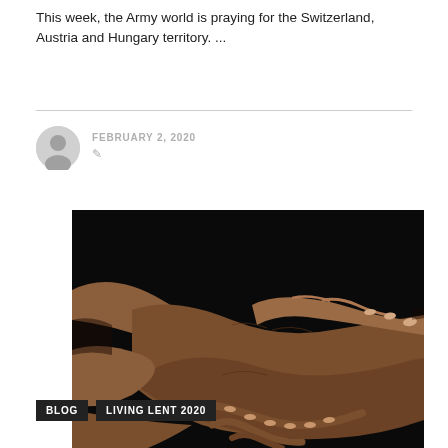This week, the Army world is praying for the Switzerland, Austria and Hungary territory. ...
FEBRUARY 2, 2020
[Figure (photo): Close-up photo of hands clasped together in prayer against a dark background, showing multiple dark-skinned hands intertwined]
BLOG   LIVING LENT 2020